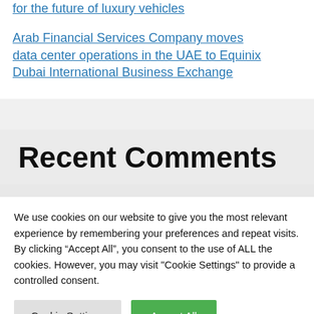for the future of luxury vehicles
Arab Financial Services Company moves data center operations in the UAE to Equinix Dubai International Business Exchange
Recent Comments
We use cookies on our website to give you the most relevant experience by remembering your preferences and repeat visits. By clicking “Accept All”, you consent to the use of ALL the cookies. However, you may visit "Cookie Settings" to provide a controlled consent.